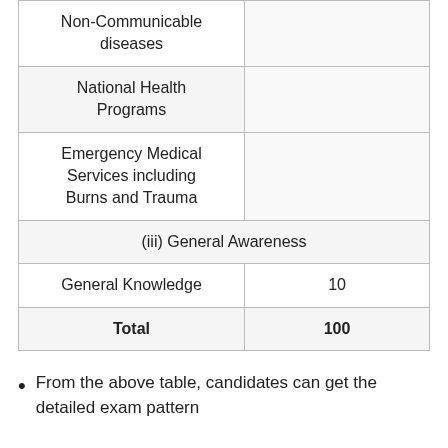| Subject/Topic | Marks |
| --- | --- |
| Non-Communicable diseases |  |
| National Health Programs |  |
| Emergency Medical Services including Burns and Trauma |  |
| (iii) General Awareness |  |
| General Knowledge | 10 |
| Total | 100 |
From the above table, candidates can get the detailed exam pattern